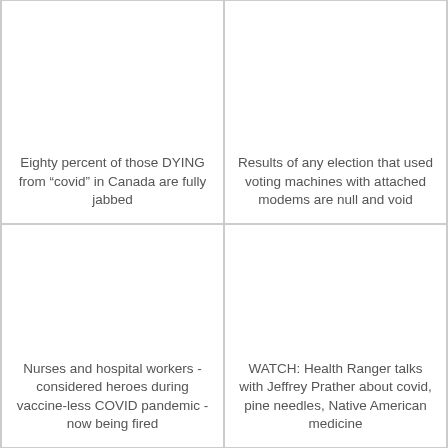Eighty percent of those DYING from “covid” in Canada are fully jabbed
Results of any election that used voting machines with attached modems are null and void
Nurses and hospital workers - considered heroes during vaccine-less COVID pandemic - now being fired
WATCH: Health Ranger talks with Jeffrey Prather about covid, pine needles, Native American medicine